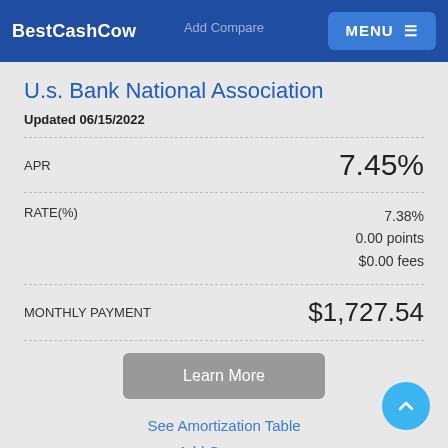BestCashCow | Add Compare | MENU
U.s. Bank National Association
Updated 06/15/2022
| Field | Value |
| --- | --- |
| APR | 7.45% |
| RATE(%) | 7.38%
0.00 points
$0.00 fees |
| MONTHLY PAYMENT | $1,727.54 |
Learn More
See Amortization Table
Add Compare